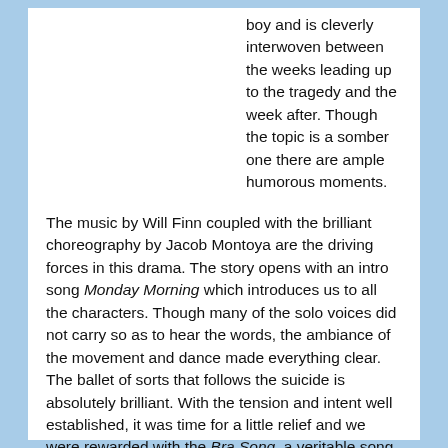boy and is cleverly interwoven between the weeks leading up to the tragedy and the week after. Though the topic is a somber one there are ample humorous moments.
The music by Will Finn coupled with the brilliant choreography by Jacob Montoya are the driving forces in this drama. The story opens with an intro song Monday Morning which introduces us to all the characters. Though many of the solo voices did not carry so as to hear the words, the ambiance of the movement and dance made everything clear. The ballet of sorts that follows the suicide is absolutely brilliant. With the tension and intent well established, it was time for a little relief and we were rewarded with the Bra Song, a veritable song and dance routine rewarded with laughter and cheering featuring the antics of two friends Milo Reynolds played by Milo Manheim and Cody Bennett played by Will Meyers. (left)